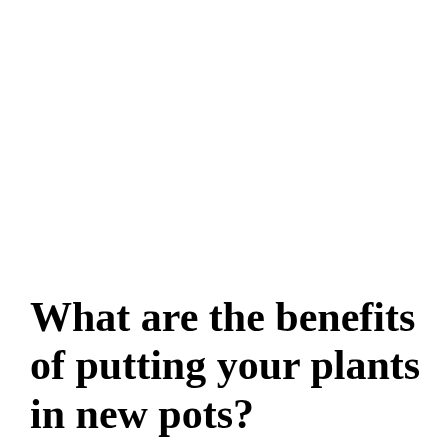What are the benefits of putting your plants in new pots?